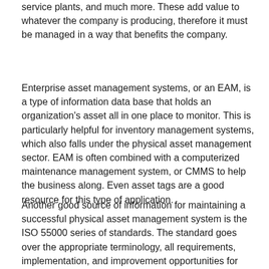service plants, and much more. These add value to whatever the company is producing, therefore it must be managed in a way that benefits the company.
Enterprise asset management systems, or an EAM, is a type of information data base that holds an organization's asset all in one place to monitor. This is particularly helpful for inventory management systems, which also falls under the physical asset management sector. EAM is often combined with a computerized maintenance management system, or CMMS to help the business along. Even asset tags are a good resource for this type of application.
Another good source of information for maintaining a successful physical asset management system is the ISO 55000 series of standards. The standard goes over the appropriate terminology, all requirements, implementation, and improvement opportunities for these management systems.